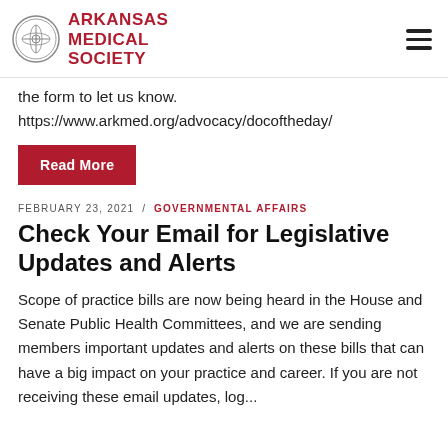ARKANSAS MEDICAL SOCIETY
the form to let us know.
https://www.arkmed.org/advocacy/docoftheday/
Read More
FEBRUARY 23, 2021 / GOVERNMENTAL AFFAIRS
Check Your Email for Legislative Updates and Alerts
Scope of practice bills are now being heard in the House and Senate Public Health Committees, and we are sending members important updates and alerts on these bills that can have a big impact on your practice and career. If you are not receiving these email updates, log...